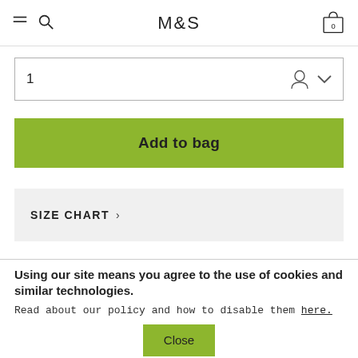M&S
1
Add to bag
SIZE CHART
Using our site means you agree to the use of cookies and similar technologies.
Read about our policy and how to disable them here.
Close